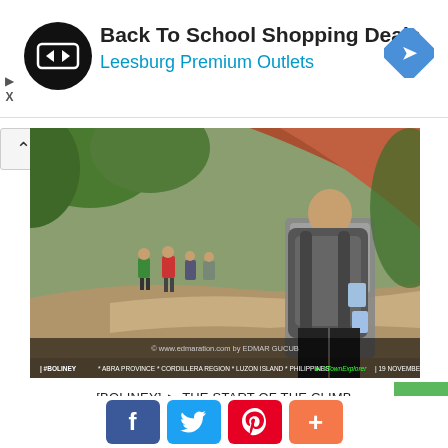[Figure (other): Advertisement banner: Back To School Shopping Deals - Leesburg Premium Outlets, with circular black logo and blue arrow icon]
[Figure (photo): Hikers walking on a dirt road through green landscape. Watermark: © www.edmaration.com by EDMAR GUCUB. Caption bar: #BOLINEY · ABRA PROVINCE · CORDILLERA REGION · LUZON ISLAND · PHILIPPINES → #TownExplorer | 19 NOVEMBER 2016]
[BOLINEY] ► THE START OF THE CLIMB
[Figure (other): Social share buttons: Facebook (blue), Twitter (blue), Pinterest (red), Plus/more (orange-red)]